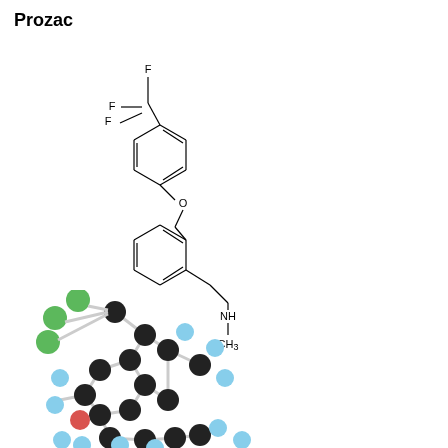Prozac
[Figure (schematic): 2D structural chemical formula of Prozac (fluoxetine) showing a para-trifluoromethyl phenoxy group connected via an oxygen to a phenethylamine chain with an NH and CH3 group]
[Figure (illustration): 3D ball-and-stick molecular model of Prozac (fluoxetine) showing green fluorine atoms, black carbon atoms, light blue hydrogen atoms, red oxygen atom, and white bond sticks]